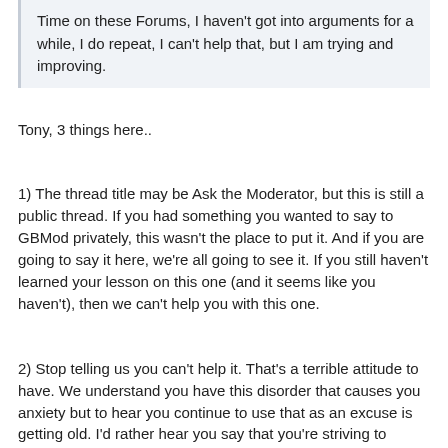Time on these Forums, I haven't got into arguments for a while, I do repeat, I can't help that, but I am trying and improving.
Tony, 3 things here..
1) The thread title may be Ask the Moderator, but this is still a public thread. If you had something you wanted to say to GBMod privately, this wasn't the place to put it. And if you are going to say it here, we're all going to see it. If you still haven't learned your lesson on this one (and it seems like you haven't), then we can't help you with this one.
2) Stop telling us you can't help it. That's a terrible attitude to have. We understand you have this disorder that causes you anxiety but to hear you continue to use that as an excuse is getting old. I'd rather hear you say that you're striving to overcome this issue rather than to ask us for sympathy because of it. I know it was before you were born, but think about Derek Redmond.. he blows out his hamstring in front of tens of thousands of people but still says he has to make it to the finish line anyway. And now everyone knows his story. Learn from him.